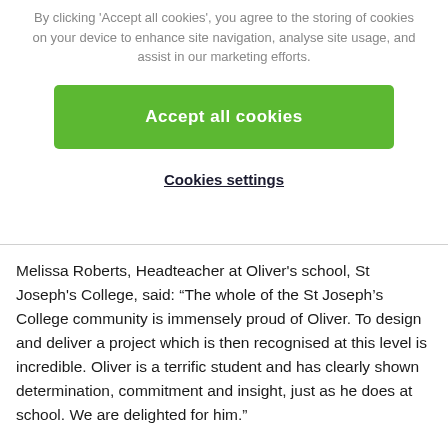By clicking 'Accept all cookies', you agree to the storing of cookies on your device to enhance site navigation, analyse site usage, and assist in our marketing efforts.
Accept all cookies
Cookies settings
Melissa Roberts, Headteacher at Oliver's school, St Joseph's College, said: “The whole of the St Joseph’s College community is immensely proud of Oliver. To design and deliver a project which is then recognised at this level is incredible. Oliver is a terrific student and has clearly shown determination, commitment and insight, just as he does at school. We are delighted for him.”